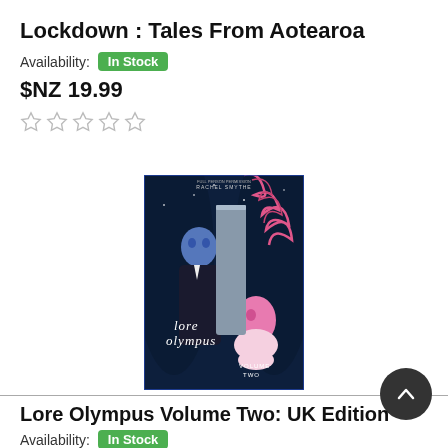Lockdown : Tales From Aotearoa
Availability: In Stock
$NZ 19.99
[Figure (other): Five empty star rating icons]
[Figure (illustration): Book cover of Lore Olympus Volume Two showing stylized characters on a dark blue background with pink foliage. Author: Rachel Smythe.]
Lore Olympus Volume Two: UK Edition
Availability: In Stock